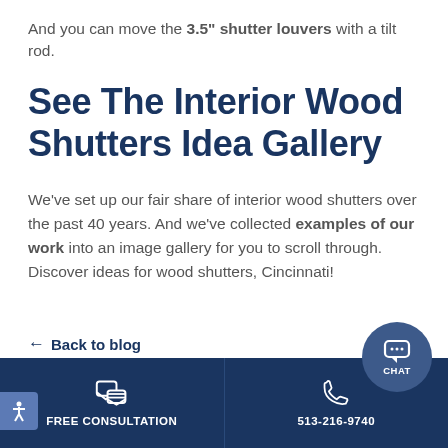And you can move the 3.5" shutter louvers with a tilt rod.
See The Interior Wood Shutters Idea Gallery
We've set up our fair share of interior wood shutters over the past 40 years. And we've collected examples of our work into an image gallery for you to scroll through. Discover ideas for wood shutters, Cincinnati!
← Back to blog
FREE CONSULTATION | 513-216-9740 | CHAT